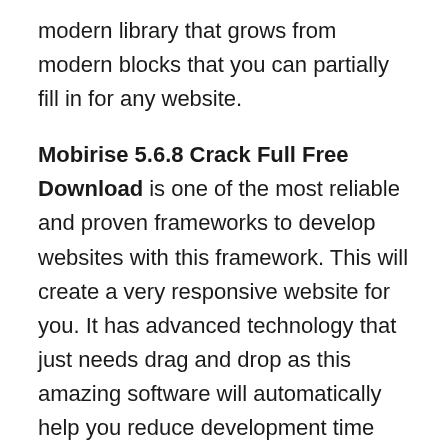modern library that grows from modern blocks that you can partially fill in for any website.
Mobirise 5.6.8 Crack Full Free Download is one of the most reliable and proven frameworks to develop websites with this framework. This will create a very responsive website for you. It has advanced technology that just needs drag and drop as this amazing software will automatically help you reduce development time and logical views and amazing websites.
It provides a list of AMP templates that can be used to create standard websites, portfolios, and landing pages. Mobirise Crack offers 10 block sets known as different design themes. You can use these themes to create a beautiful website. You don't need any coding to build a